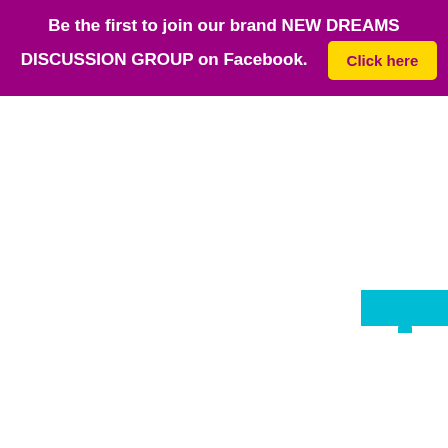Be the first to join our brand NEW DREAMS DISCUSSION GROUP on Facebook. Click here
[Figure (other): Teal/cyan rectangular box element in bottom-right area of the page]